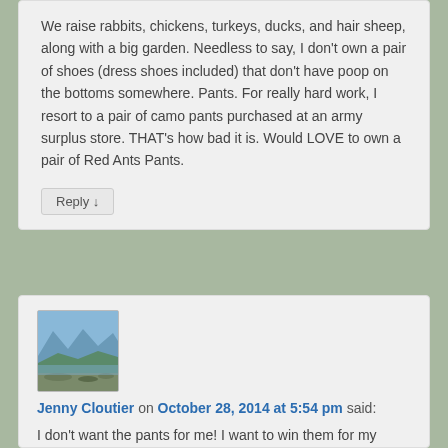We raise rabbits, chickens, turkeys, ducks, and hair sheep, along with a big garden. Needless to say, I don't own a pair of shoes (dress shoes included) that don't have poop on the bottoms somewhere. Pants. For really hard work, I resort to a pair of camo pants purchased at an army surplus store. THAT's how bad it is. Would LOVE to own a pair of Red Ants Pants.
Reply ↓
[Figure (photo): Landscape photo showing mountains in the background with a lake or water body, and driftwood or rocks in the foreground. Used as user avatar for Jenny Cloutier.]
Jenny Cloutier on October 28, 2014 at 5:54 pm said:
I don't want the pants for me! I want to win them for my excellent Crew Leader Marchand. She is hard working, spends dozens of night in the field